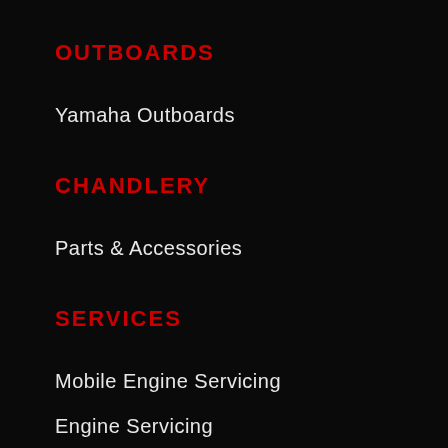OUTBOARDS
Yamaha Outboards
CHANDLERY
Parts & Accessories
SERVICES
Mobile Engine Servicing
Engine Servicing
Outboard Repowers